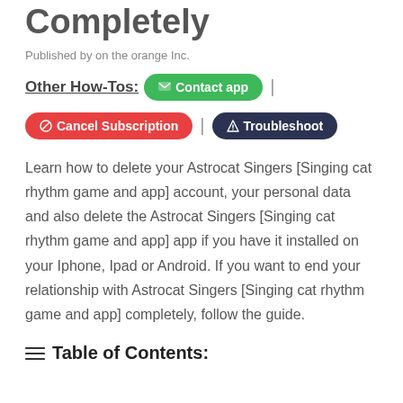Completely
Published by on the orange Inc.
Other How-Tos: | Contact app | | Cancel Subscription | | Troubleshoot
Learn how to delete your Astrocat Singers [Singing cat rhythm game and app] account, your personal data and also delete the Astrocat Singers [Singing cat rhythm game and app] app if you have it installed on your Iphone, Ipad or Android. If you want to end your relationship with Astrocat Singers [Singing cat rhythm game and app] completely, follow the guide.
☰ Table of Contents: